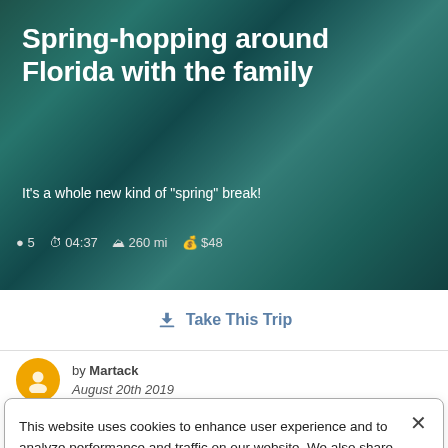[Figure (photo): Hero image of blue-green Florida spring water with overlaid text showing trip title, subtitle, and stats]
Spring-hopping around Florida with the family
It's a whole new kind of "spring" break!
● 5  ⏱ 04:37  △ 260 mi  💰 $48
↓ Take This Trip
by Martack
August 20th 2019
This website uses cookies to enhance user experience and to analyze performance and traffic on our website. We also share information about your use of our site with our social media and analytics partners. Roadtrippers Privacy/Cookie Policy
Cookie Preferences   Accept Cookies